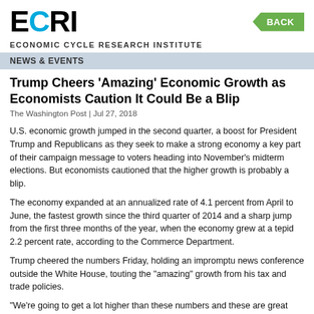[Figure (logo): ECRI logo with blue C letter]
BACK
ECONOMIC CYCLE RESEARCH INSTITUTE
NEWS & EVENTS
Trump Cheers ‘Amazing’ Economic Growth as Economists Caution It Could Be a Blip
The Washington Post | Jul 27, 2018
U.S. economic growth jumped in the second quarter, a boost for President Trump and Republicans as they seek to make a strong economy a key part of their campaign message to voters heading into November’s midterm elections. But economists cautioned that the higher growth is probably a blip.
The economy expanded at an annualized rate of 4.1 percent from April to June, the fastest growth since the third quarter of 2014 and a sharp jump from the first three months of the year, when the economy grew at a tepid 2.2 percent rate, according to the Commerce Department.
Trump cheered the numbers Friday, holding an impromptu news conference outside the White House, touting the “amazing” growth from his tax and trade policies.
“We’re going to get a lot higher than these numbers and these are great numbers,” Trump said, flanked by his economic team. “We are now on track